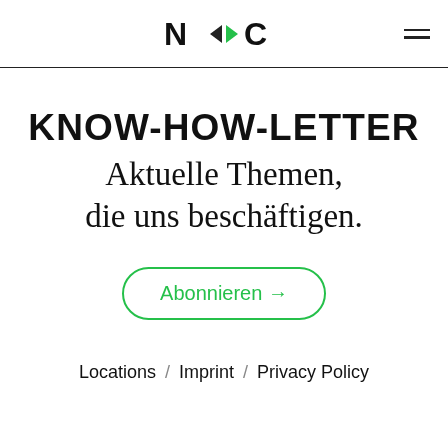N◄►C (logo)
KNOW-HOW-LETTER
Aktuelle Themen,
die uns beschäftigen.
Abonnieren →
Locations / Imprint / Privacy Policy